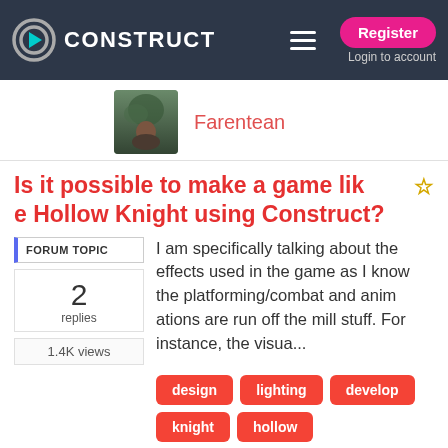CONSTRUCT — Register — Login to account
Farentean
Is it possible to make a game like Hollow Knight using Construct?
FORUM TOPIC
2 replies
1.4K views
I am specifically talking about the effects used in the game as I know the platforming/combat and animations are run off the mill stuff. For instance, the visua...
design
lighting
develop
knight
hollow